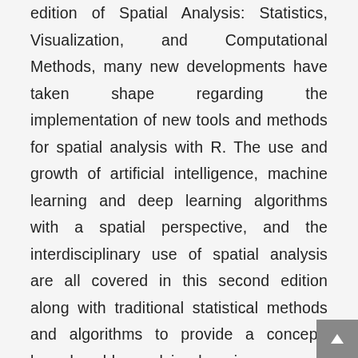edition of Spatial Analysis: Statistics, Visualization, and Computational Methods, many new developments have taken shape regarding the implementation of new tools and methods for spatial analysis with R. The use and growth of artificial intelligence, machine learning and deep learning algorithms with a spatial perspective, and the interdisciplinary use of spatial analysis are all covered in this second edition along with traditional statistical methods and algorithms to provide a concept-based problem-solving learning approach to mastering practical spatial analysis. Spatial Analysis with R: Statistics, Visualization, and Computational Methods, Second Edition provides a balance between concepts and practicums of sp